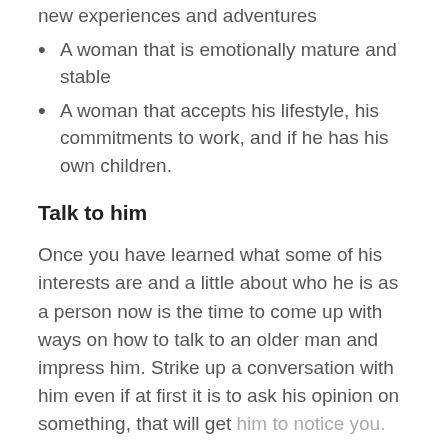new experiences and adventures
A woman that is emotionally mature and stable
A woman that accepts his lifestyle, his commitments to work, and if he has his own children.
Talk to him
Once you have learned what some of his interests are and a little about who he is as a person now is the time to come up with ways on how to talk to an older man and impress him. Strike up a conversation with him even if at first it is to ask his opinion on something, that will get him to notice you.